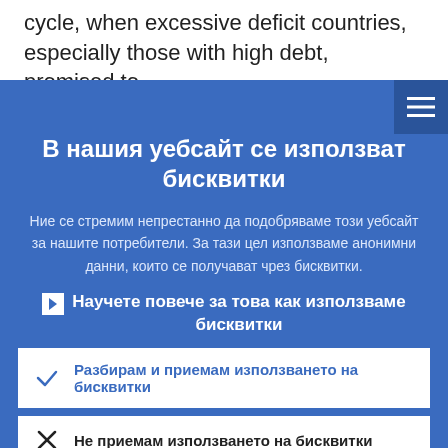cycle, when excessive deficit countries, especially those with high debt, promised to undertake a structural correction of the
В нашия уебсайт се използват бисквитки
Ние се стремим непрестанно да подобряваме този уебсайт за нашите потребители. За тази цел използваме анонимни данни, които се получават чрез бисквитки.
Научете повече за това как използваме бисквитки
Разбирам и приемам използването на бисквитки
Не приемам използването на бисквитки